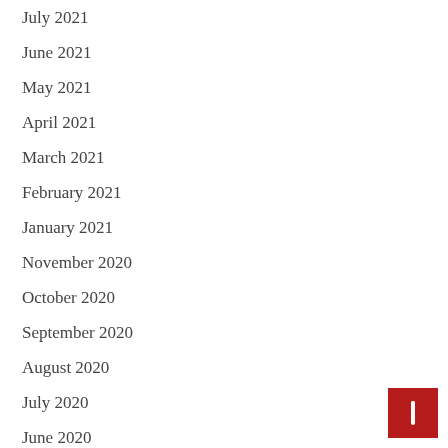July 2021
June 2021
May 2021
April 2021
March 2021
February 2021
January 2021
November 2020
October 2020
September 2020
August 2020
July 2020
June 2020
March 2020